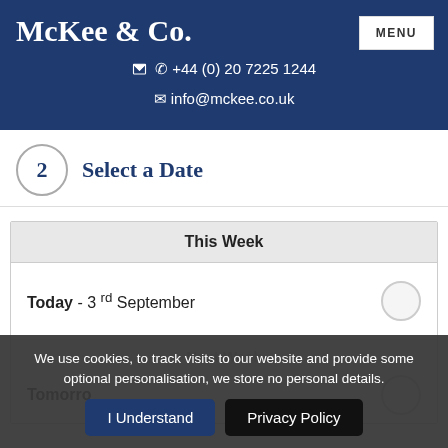McKee & Co.
+44 (0) 20 7225 1244
info@mckee.co.uk
2  Select a Date
This Week
Today - 3rd September
Next Week
Tomorrow
We use cookies, to track visits to our website and provide some optional personalisation, we store no personal details.
I Understand
Privacy Policy